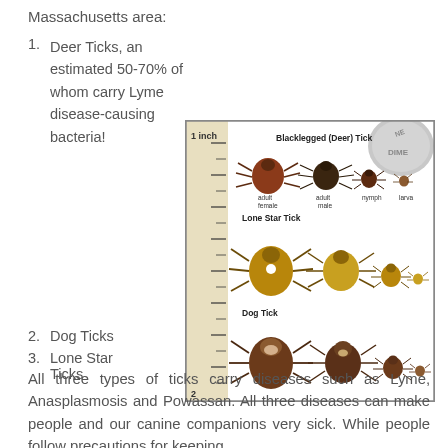Massachusetts area:
1. Deer Ticks, an estimated 50-70% of whom carry Lyme disease-causing bacteria!
[Figure (illustration): Illustration comparing three types of ticks (Blacklegged/Deer Tick, Lone Star Tick, Dog Tick) at different life stages (adult female, adult male, nymph, larva) shown next to a ruler measuring up to 2 inches and a dime coin for scale.]
2. Dog Ticks
3. Lone Star Ticks
All three types of ticks carry diseases such as Lyme, Anasplasmosis and Powassan. All three diseases can make people and our canine companions very sick. While people follow precautions for keeping